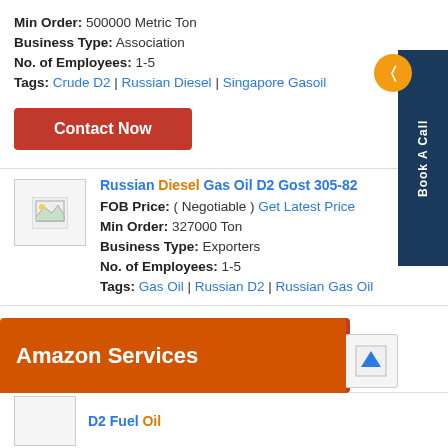Min Order: 500000 Metric Ton
Business Type: Association
No. of Employees: 1-5
Tags: Crude D2 | Russian Diesel | Singapore Gasoil
Contact Now
Russian Diesel Gas Oil D2 Gost 305-82
FOB Price: ( Negotiable ) Get Latest Price
Min Order: 327000 Ton
Business Type: Exporters
No. of Employees: 1-5
Tags: Gas Oil | Russian D2 | Russian Gas Oil
Amazon Services
D2 Fuel Oil
Book A Call